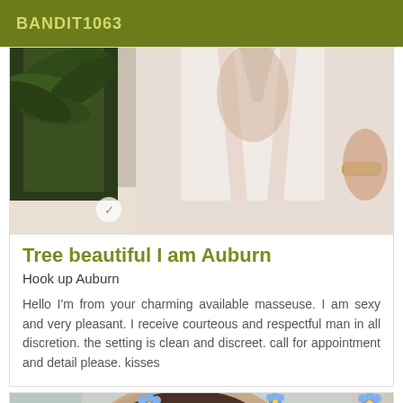BANDIT1063
[Figure (photo): Cropped photo of a person in a light pink/white outfit near a palm tree, showing midsection and arm with gold bracelet]
Tree beautiful I am Auburn
Hook up Auburn
Hello I'm from your charming available masseuse. I am sexy and very pleasant. I receive courteous and respectful man in all discretion. the setting is clean and discreet. call for appointment and detail please. kisses
[Figure (photo): Partial photo of a person's head/face with blue flower emoji decorations overlaid]